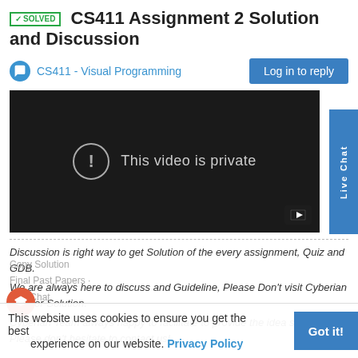✓SOLVED CS411 Assignment 2 Solution and Discussion
CS411 - Visual Programming
[Figure (screenshot): Embedded video player showing 'This video is private' message with warning icon and YouTube play button]
Discussion is right way to get Solution of the every assignment, Quiz and GDB.
We are always here to discuss and Guideline, Please Don't visit Cyberian only for Solution.
Cyberian Team always happy to facilitate to provide the idea solution. Please don't hesitate to contact us!
This website uses cookies to ensure you get the best experience on our website. Privacy Policy